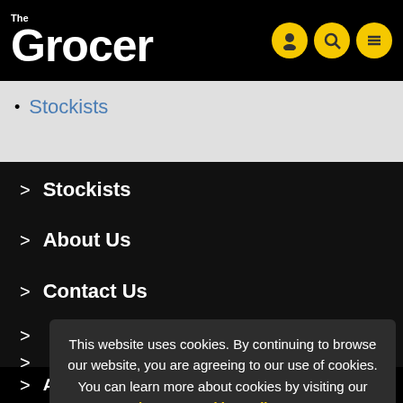The Grocer
Stockists
Stockists
About Us
Contact Us
This website uses cookies. By continuing to browse our website, you are agreeing to our use of cookies. You can learn more about cookies by visiting our privacy & cookies policy page.
Apply to reuse our content